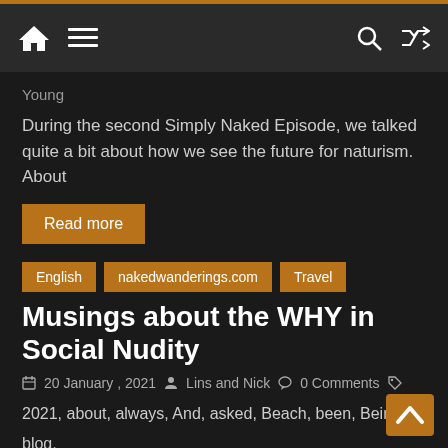Navigation bar with home, menu, search, and shuffle icons
Young
During the second Simply Naked Episode, we talked quite a bit about how we see the future for naturism. About
Read more
English  nakedwanderings.com  Travel
Musings about the WHY in Social Nudity
20 January , 2021  Lins and Nick  0 Comments
2021, about, always, And, asked, Beach, been, Being, blog, clothes, comfort, faces, fkk, free, further, have, home, If, In, many, more, much, must, Naked, Naked Wanderings, nature,